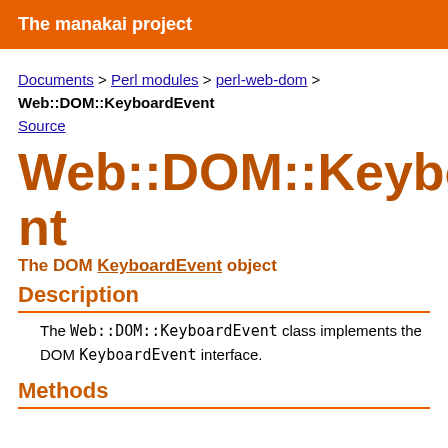The manakai project
Documents > Perl modules > perl-web-dom > Web::DOM::KeyboardEvent
Source
Web::DOM::KeyboardEvent
The DOM KeyboardEvent object
Description
The Web::DOM::KeyboardEvent class implements the DOM KeyboardEvent interface.
Methods